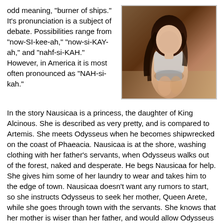odd meaning, "burner of ships." It's pronunciation is a subject of debate. Possibilities range from "now-SI-kee-ah," "now-si-KAY-ah," and "nahf-si-KAH." However, in America it is most often pronounced as "NAH-si-kah."
[Figure (photo): A photo of a young woman with long dark hair, seated, wearing a light-colored top and shorts, against a wooden background.]
In the story Nausicaa is a princess, the daughter of King Alcinous. She is described as very pretty, and is compared to Artemis. She meets Odysseus when he becomes shipwrecked on the coast of Phaeacia. Nausicaa is at the shore, washing clothing with her father's servants, when Odysseus walks out of the forest, naked and desperate. He begs Nausicaa for help. She gives him some of her laundry to wear and takes him to the edge of town. Nausicaa doesn't want any rumors to start, so she instructs Odysseus to seek her mother, Queen Arete, while she goes through town with the servants. She knows that her mother is wiser than her father, and would allow Odysseus to stay as a guest.